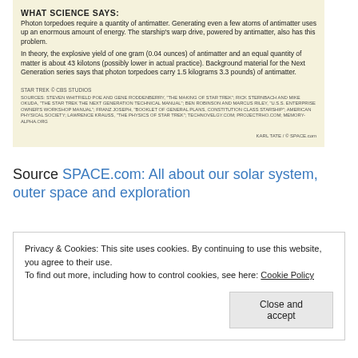WHAT SCIENCE SAYS:
Photon torpedoes require a quantity of antimatter. Generating even a few atoms of antimatter uses up an enormous amount of energy. The starship's warp drive, powered by antimatter, also has this problem.
In theory, the explosive yield of one gram (0.04 ounces) of antimatter and an equal quantity of matter is about 43 kilotons (possibly lower in actual practice). Background material for the Next Generation series says that photon torpedoes carry 1.5 kilograms 3.3 pounds) of antimatter.
STAR TREK © CBS STUDIOS
SOURCES: STEVEN WHITFIELD POE AND GENE RODDENBERRY, "THE MAKING OF STAR TREK"; RICK STERNBACH AND MIKE OKUDA, "THE STAR TREK THE NEXT GENERATION TECHNICAL MANUAL"; BEN ROBINSON AND MARCUS RILEY, "U.S.S. ENTERPRISE OWNER'S WORKSHOP MANUAL"; FRANZ JOSEPH, "BOOKLET OF GENERAL PLANS, CONSTITUTION CLASS STARSHIP"; AMERICAN PHYSICAL SOCIETY; LAWRENCE KRAUSS, "THE PHYSICS OF STAR TREK"; TECHNOVELGY.COM; PROJECTRHO.COM; MEMORY-ALPHA.ORG
KARL TATE / © SPACE.com
Source SPACE.com: All about our solar system, outer space and exploration
Privacy & Cookies: This site uses cookies. By continuing to use this website, you agree to their use.
To find out more, including how to control cookies, see here: Cookie Policy
Close and accept